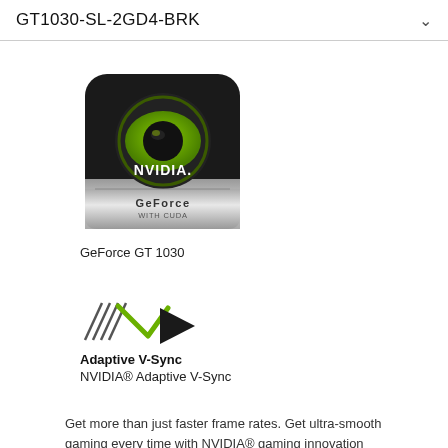GT1030-SL-2GD4-BRK
[Figure (logo): NVIDIA GeForce with CUDA badge logo — rounded square black/silver badge with NVIDIA wordmark and GeForce with CUDA text]
GeForce GT 1030
[Figure (logo): NVIDIA Adaptive V-Sync logo — slash lines with green and black checkmark/arrow]
Adaptive V-Sync
NVIDIA® Adaptive V-Sync
Get more than just faster frame rates. Get ultra-smooth gaming every time with NVIDIA® gaming innovation Adaptive Vertical Sync. This technology dynamically adjusts vsync to current frame rates for maximum playability.